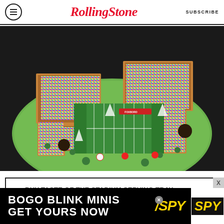Rolling Stone | SUBSCRIBE
[Figure (photo): 3D model of a football stadium serving tray shaped like a stadium with colorful candy/confetti fans in the stands, green football field in the center, on an oval grass base, photographed against black background]
BUY TASTE OF THE STADIUM SERVING TRAY $39.99
[Figure (advertisement): Black banner advertisement reading BOGO BLINK MINIS GET YOURS NOW with SPY logo in yellow italic text on white background on the right side]